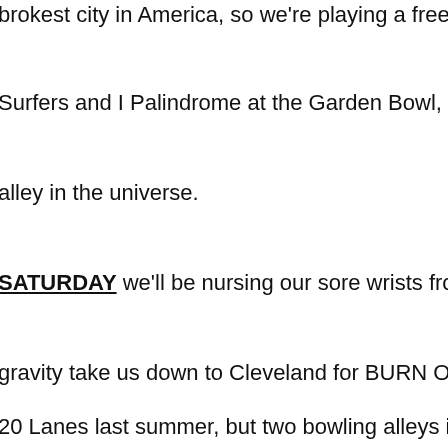brokest city in America, so we're playing a free show with Fi...
Surfers and I Palindrome at the Garden Bowl, the oldest ope...
alley in the universe.
SATURDAY we'll be nursing our sore wrists from bowling all n...
gravity take us down to Cleveland for BURN OUT 2 fest. We...
20 Lanes last summer, but two bowling alleys in a row would...